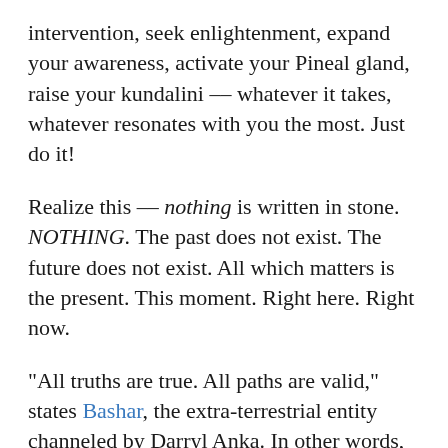intervention, seek enlightenment, expand your awareness, activate your Pineal gland, raise your kundalini -- whatever it takes, whatever resonates with you the most. Just do it!
Realize this -- nothing is written in stone. NOTHING. The past does not exist. The future does not exist. All which matters is the present. This moment. Right here. Right now.
“All truths are true. All paths are valid,” states Bashar, the extra-terrestrial entity channeled by Darryl Anka. In other words, whatever one truly believes in becomes real for them. And at this time on planet Earth there may be numerous realities and Earthly experiences going on at the same time -- perhaps as many as 7 billion! (See video below for more.)